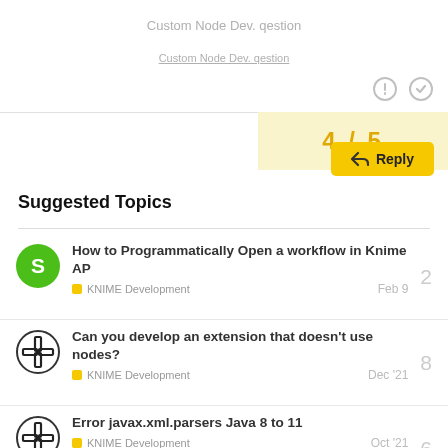Custom Node Dev. qestion
4 / 5
Reply
Suggested Topics
How to Programmatically Open a workflow in Knime AP — KNIME Development — Feb 9 — 2 replies
Can you develop an extension that doesn't use nodes? — KNIME Development — Dec '21 — 8 replies
Error javax.xml.parsers Java 8 to 11 — KNIME Development — Oct '21 — 6 replies
Error node debugging in eclipse — 3 replies